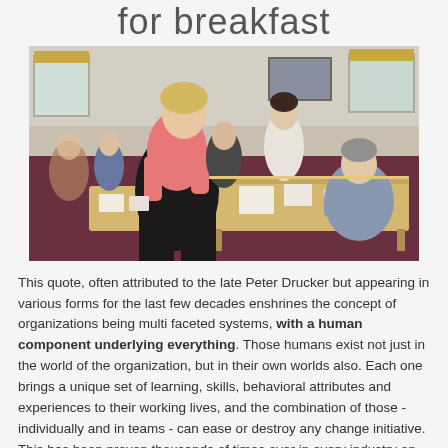for breakfast
[Figure (photo): A room with people gathered around long tables, engaged in a group activity or workshop. A woman in a pink shirt stands in the foreground, and other participants are seated and standing around tables with papers on them.]
This quote, often attributed to the late Peter Drucker but appearing in various forms for the last few decades enshrines the concept of organizations being multi faceted systems, with a human component underlying everything. Those humans exist not just in the world of the organization, but in their own worlds also. Each one brings a unique set of learning, skills, behavioral attributes and experiences to their working lives, and the combination of those - individually and in teams - can ease or destroy any change initiative. This has been proven thousands of times over in every industry on